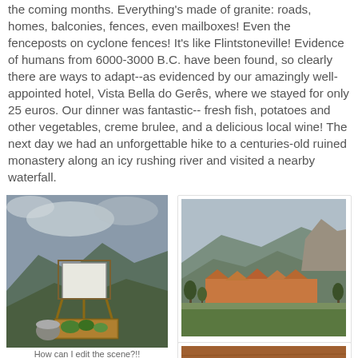the coming months. Everything's made of granite: roads, homes, balconies, fences, even mailboxes! Even the fenceposts on cyclone fences! It's like Flintstoneville! Evidence of humans from 6000-3000 B.C. have been found, so clearly there are ways to adapt--as evidenced by our amazingly well-appointed hotel, Vista Bella do Gerês, where we stayed for only 25 euros. Our dinner was fantastic-- fresh fish, potatoes and other vegetables, creme brulee, and a delicious local wine! The next day we had an unforgettable hike to a centuries-old ruined monastery along an icy rushing river and visited a nearby waterfall.
[Figure (photo): Outdoor scene with a wooden easel or frame structure in the foreground, mountain landscape in the background with clouds]
How can I edit the scene?!!
[Figure (photo): Aerial or elevated view of a village with terracotta rooftops surrounded by mountains and rocky outcroppings]
One of many villages we passed
[Figure (photo): Close-up of wooden surface with what appears to be a hand or object, partially visible]